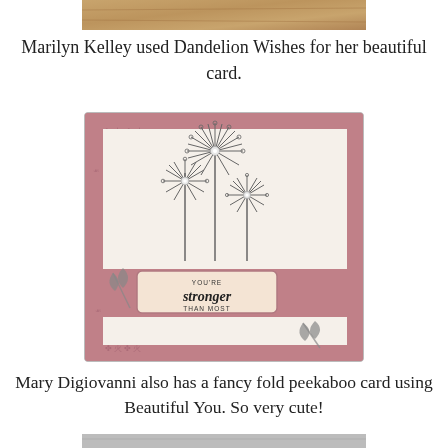[Figure (photo): Partial image of a craft card or decorative item at the top of the page, cropped]
Marilyn Kelley used Dandelion Wishes for her beautiful card.
[Figure (photo): A handmade greeting card with a pink patterned border, featuring stamped dandelion/allium flowers with rhinestone centers on cream cardstock, and a sentiment label reading YOU'RE stronger THAN MOST]
Mary Digiovanni also has a fancy fold peekaboo card using Beautiful You. So very cute!
[Figure (photo): Partial image of another card at the bottom, cropped]